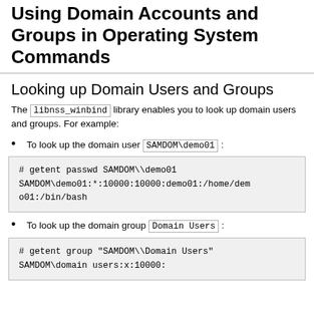Using Domain Accounts and Groups in Operating System Commands
Looking up Domain Users and Groups
The libnss_winbind library enables you to look up domain users and groups. For example:
To look up the domain user SAMDOM\demo01:
# getent passwd SAMDOM\\demo01
SAMDOM\demo01:*:10000:10000:demo01:/home/demo01:/bin/bash
To look up the domain group Domain Users:
# getent group "SAMDOM\\Domain Users"
SAMDOM\domain users:x:10000: